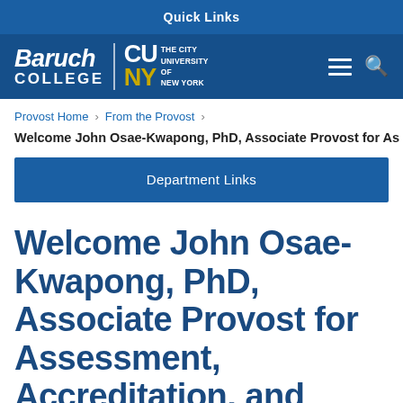Quick Links
[Figure (logo): Baruch College | CUNY - The City University of New York logo on dark blue header bar with hamburger menu and search icon]
Provost Home > From the Provost >
Welcome John Osae-Kwapong, PhD, Associate Provost for As
Department Links
Welcome John Osae-Kwapong, PhD, Associate Provost for Assessment, Accreditation, and Institutional